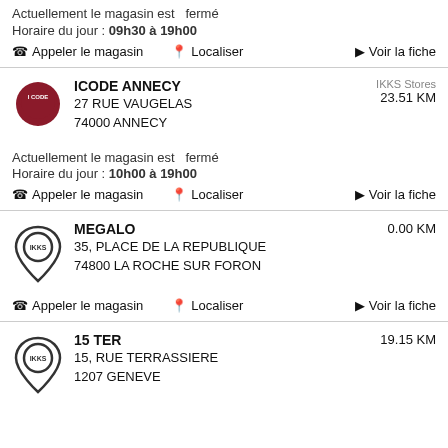Actuellement le magasin est   fermé
Horaire du jour : 09h30 à 19h00
Appeler le magasin   Localiser   Voir la fiche
ICODE ANNECY
27 RUE VAUGELAS
74000 ANNECY
IKKS Stores   23.51 KM
Actuellement le magasin est   fermé
Horaire du jour : 10h00 à 19h00
Appeler le magasin   Localiser   Voir la fiche
MEGALO
35, PLACE DE LA REPUBLIQUE
74800 LA ROCHE SUR FORON
0.00 KM
Appeler le magasin   Localiser   Voir la fiche
15 TER
15, RUE TERRASSIERE
1207 GENEVE
19.15 KM